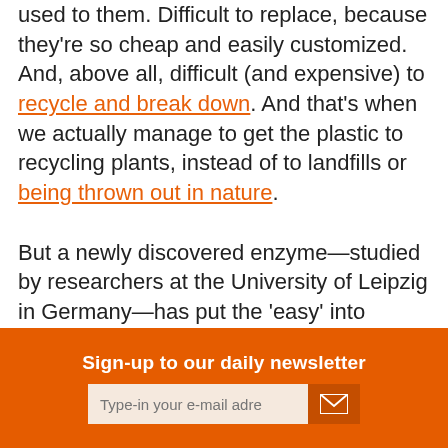used to them. Difficult to replace, because they're so cheap and easily customized. And, above all, difficult (and expensive) to recycle and break down. And that's when we actually manage to get the plastic to recycling plants, instead of to landfills or being thrown out in nature. But a newly discovered enzyme—studied by researchers at the University of Leipzig in Germany—has put the 'easy' into breaking down plastic. Called PHL7, this remarkable microbe can 'munch' through 90% of a
Sign-up to our daily newsletter